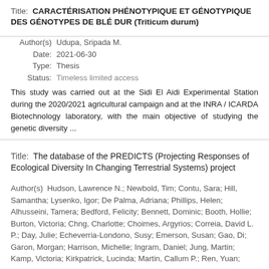Title:  CARACTÉRISATION PHÉNOTYPIQUE ET GÉNOTYPIQUE DES GÉNOTYPES DE BLÉ DUR (Triticum durum)
Author(s)  Udupa, Sripada M.
    Date:  2021-06-30
    Type:  Thesis
  Status:  Timeless limited access
This study was carried out at the Sidi El Aidi Experimental Station during the 2020/2021 agricultural campaign and at the INRA / ICARDA Biotechnology laboratory, with the main objective of studying the genetic diversity ...
Title:  The database of the PREDICTS (Projecting Responses of Ecological Diversity In Changing Terrestrial Systems) project
Author(s)  Hudson, Lawrence N.; Newbold, Tim; Contu, Sara; Hill, Samantha; Lysenko, Igor; De Palma, Adriana; Phillips, Helen; Alhusseini, Tamera; Bedford, Felicity; Bennett, Dominic; Booth, Hollie; Burton, Victoria; Chng, Charlotte; Choimes, Argyrios; Correia, David L. P.; Day, Julie; Echeverria-Londono, Susy; Emerson, Susan; Gao, Di; Garon, Morgan; Harrison, Michelle; Ingram, Daniel; Jung, Martin; Kamp, Victoria; Kirkpatrick, Lucinda; Martin, Callum P.; Ren, Yuan;